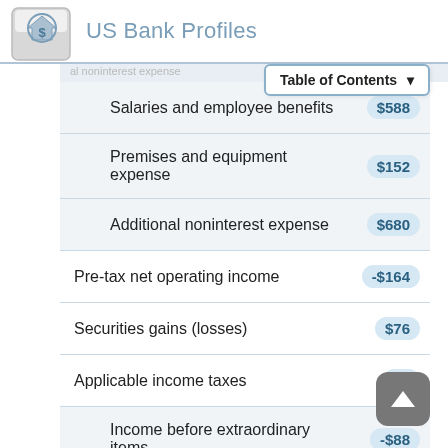US Bank Profiles
|  |  |
| --- | --- |
| Salaries and employee benefits | $588 |
| Premises and equipment expense | $152 |
| Additional noninterest expense | $680 |
| Pre-tax net operating income | -$164 |
| Securities gains (losses) | $76 |
| Applicable income taxes | $0 |
| Income before extraordinary items | -$88 |
| Extraordinary gains - net | $0 |
| Net income attributable to bank | -$88 |